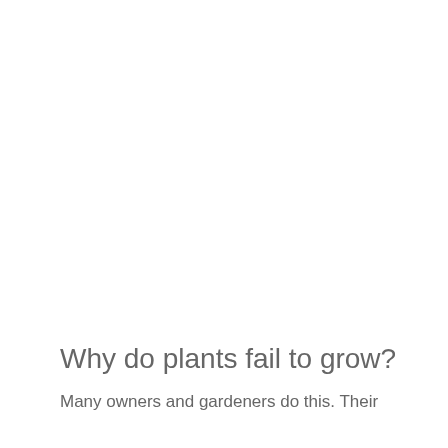Why do plants fail to grow?
Many owners and gardeners do this. Their